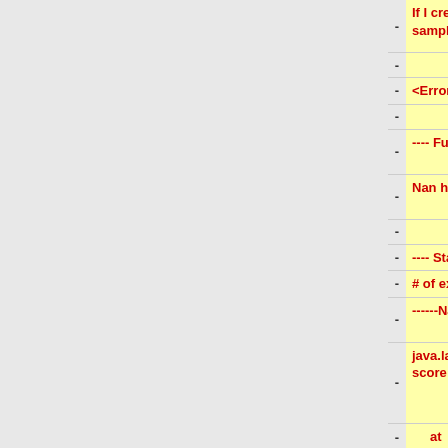| - | left (removed) | + | right (added) |
| --- | --- | --- | --- |
| - | If I create phenotype on the fly with 2 samples in each class, life is good. | + |  |
| - |  | + |  |
| - | <Error Details> | + |  |
| - |  | + |  |
| - | ---- Full Error Message ---- | + |  |
| - | Nan hit score for feature: TACC2 | + |  |
| - |  | + |  |
| - | ---- Stack Trace ---- | + |  |
| - | # of exceptions: 1 | + |  |
| - | ------Nan hit score for feature: TACC2------ | + |  |
| - | java.lang.IllegalStateException: Nan hit score for feature: TACC2 | + |  |
| - | at | + |  |